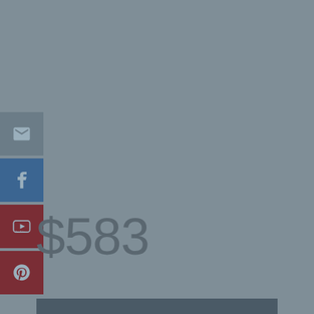[Figure (infographic): Social media share buttons stacked vertically on the left side: email (grey), Facebook (blue), YouTube (dark red), Pinterest (dark red). Each is a square icon button approximately 62x62px.]
$583
[Figure (other): Dark grey horizontal bar at the bottom of the page]